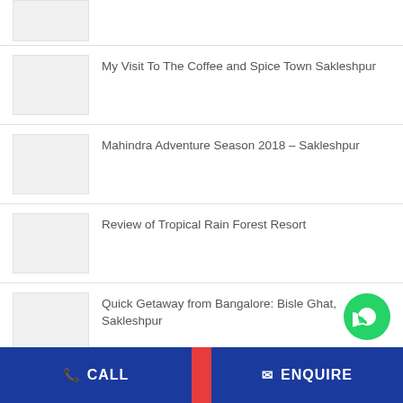(partial image placeholder)
My Visit To The Coffee and Spice Town Sakleshpur
Mahindra Adventure Season 2018 – Sakleshpur
Review of Tropical Rain Forest Resort
Quick Getaway from Bangalore: Bisle Ghat, Sakleshpur
CALL | ENQUIRE